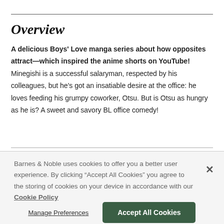Overview
A delicious Boys' Love manga series about how opposites attract—which inspired the anime shorts on YouTube! Minegishi is a successful salaryman, respected by his colleagues, but he's got an insatiable desire at the office: he loves feeding his grumpy coworker, Otsu. But is Otsu as hungry as he is? A sweet and savory BL office comedy!
Barnes & Noble uses cookies to offer you a better user experience. By clicking "Accept All Cookies" you agree to the storing of cookies on your device in accordance with our Cookie Policy
Manage Preferences
Accept All Cookies